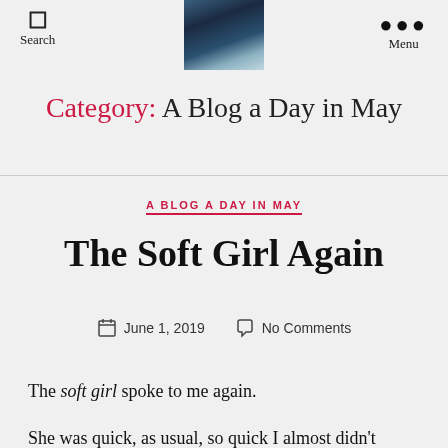Search | [logo image] | Menu
Category: A Blog a Day in May
A BLOG A DAY IN MAY
The Soft Girl Again
June 1, 2019   No Comments
The soft girl spoke to me again.
She was quick, as usual, so quick I almost didn't notice